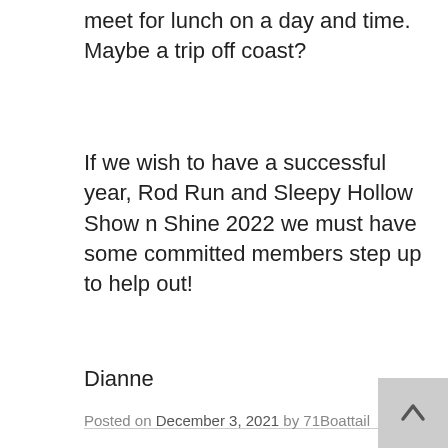meet for lunch on a day and time. Maybe a trip off coast?
If we wish to have a successful year, Rod Run and Sleepy Hollow Show n Shine 2022 we must have some committed members step up to help out!
Dianne
From Ken and Dianne: Light Parade and Christmas Wishes
Posted on December 3, 2021 by 71Boattail